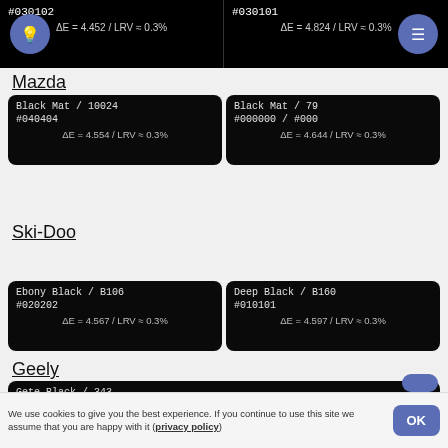#030102 / ΔE = 4.452 / LRV ≈ 0.3%
#030101 / ΔE = 4.824 / LRV ≈ 0.3%
Mazda
| Black Mat / 10024 | Black Mat / 79 |
| #040404 | #000000 / #000 |
| ΔE = 4.554 / LRV ≈ 0.3% | ΔE = 4.644 / LRV ≈ 0.3% |
Ski-Doo
| Ebony Black / B106 | Deep Black / B160 |
| #020202 | #010101 |
| ΔE = 4.567 / LRV ≈ 0.3% | ΔE = 4.597 / LRV ≈ 0.3% |
Geely
| Gete Black / 343 |
| #010101 |
| ΔE = 4.597 / LRV ≈ 0.3% |
We use cookies to give you the best experience. If you continue to use this site we assume that you are happy with it (privacy policy)